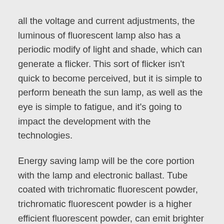all the voltage and current adjustments, the luminous of fluorescent lamp also has a periodic modify of light and shade, which can generate a flicker. This sort of flicker isn't quick to become perceived, but it is simple to perform beneath the sun lamp, as well as the eye is simple to fatigue, and it's going to impact the development with the technologies.
Energy saving lamp will be the core portion with the lamp and electronic ballast. Tube coated with trichromatic fluorescent powder, trichromatic fluorescent powder is a higher efficient fluorescent powder, can emit brighter light, than the regular fluorescent lamp closer for the sun light, the fluorescence powder can strengthen the luminous efficiency of the electronic ballast works: by the rectifier circuit of 50Hz AC into DC rectifier, by higher